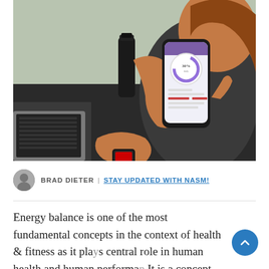[Figure (photo): Woman in black athletic wear sitting at a dark table, holding a smartphone with a fitness/health app showing a circular progress indicator (30%). She wears a smartwatch on her wrist. A laptop and black water bottle are visible on the table in the background.]
BRAD DIETER | STAY UPDATED WITH NASM!
Energy balance is one of the most fundamental concepts in the context of health & fitness as it plays a central role in human health and human performance. It is a concept that applies to almost every aspect of